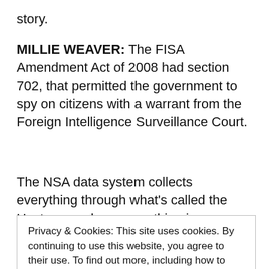story.
MILLIE WEAVER: The FISA Amendment Act of 2008 had section 702, that permitted the government to spy on citizens with a warrant from the Foreign Intelligence Surveillance Court.
The NSA data system collects everything through what's called the Upstream, where everything is
Privacy & Cookies: This site uses cookies. By continuing to use this website, you agree to their use. To find out more, including how to control cookies, see here: Cookie Policy
Close and accept